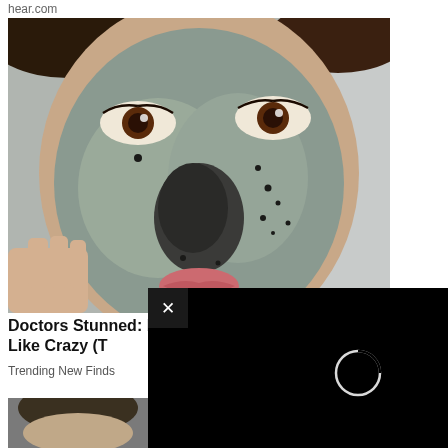hear.com
[Figure (photo): Close-up photo of a woman's face with a grey-blue clay/charcoal face mask applied, with dark spots visible on the mask around the nose area. A hand is touching her chin.]
Doctors Stunned: bags Like Crazy (T
Trending New Finds
[Figure (screenshot): Black video overlay with an X close button in the top-left corner and a loading spinner circle in the center-right area.]
[Figure (photo): Partial bottom photo showing a person's hair/head, cropped.]